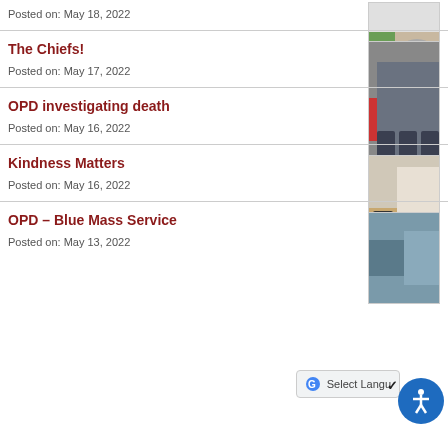Posted on: May 18, 2022
[Figure (photo): Thumbnail image related to May 18 post]
The Chiefs!
Posted on: May 17, 2022
[Figure (photo): Photo of police chiefs in uniform]
OPD investigating death
Posted on: May 16, 2022
Kindness Matters
Posted on: May 16, 2022
[Figure (photo): Photo of people with Kindness Matters display]
OPD – Blue Mass Service
Posted on: May 13, 2022
[Figure (photo): Thumbnail image for Blue Mass Service]